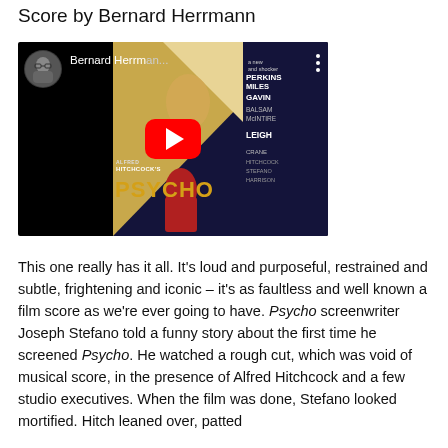Score by Bernard Herrmann
[Figure (screenshot): YouTube video thumbnail showing the Psycho movie poster with a YouTube play button overlay. Thumbnail shows a user avatar on the left and text 'Bernard Herrmann...' as the video title.]
This one really has it all. It's loud and purposeful, restrained and subtle, frightening and iconic – it's as faultless and well known a film score as we're ever going to have. Psycho screenwriter Joseph Stefano told a funny story about the first time he screened Psycho. He watched a rough cut, which was void of musical score, in the presence of Alfred Hitchcock and a few studio executives. When the film was done, Stefano looked mortified. Hitch leaned over, patted